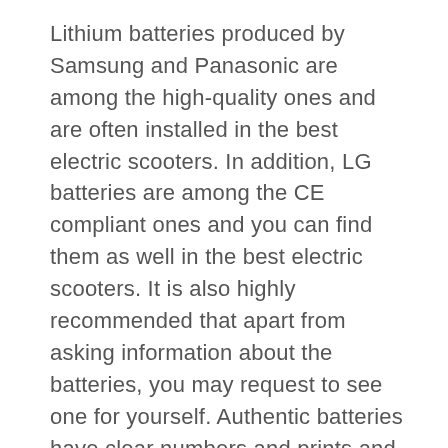Lithium batteries produced by Samsung and Panasonic are among the high-quality ones and are often installed in the best electric scooters. In addition, LG batteries are among the CE compliant ones and you can find them as well in the best electric scooters. It is also highly recommended that apart from asking information about the batteries, you may request to see one for yourself. Authentic batteries have clear numbers and prints and you can instantly see the difference from the counterfeit. Requesting to see proof of UL certification is also one of the best ways to verify whether you are indeed purchasing one of the best electric scooters available today.